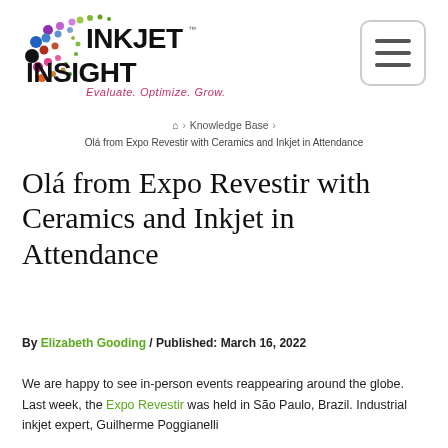[Figure (logo): Inkjet Insight logo with colorful dots and tagline 'Evaluate. Optimize. Grow.']
[Figure (other): Hamburger menu button icon (three horizontal bars) in a rounded rectangle]
🏠 > Knowledge Base > Olá from Expo Revestir with Ceramics and Inkjet in Attendance
Olá from Expo Revestir with Ceramics and Inkjet in Attendance
By Elizabeth Gooding / Published: March 16, 2022
We are happy to see in-person events reappearing around the globe. Last week, the Expo Revestir was held in São Paulo, Brazil. Industrial inkjet expert, Guilherme Poggianelli